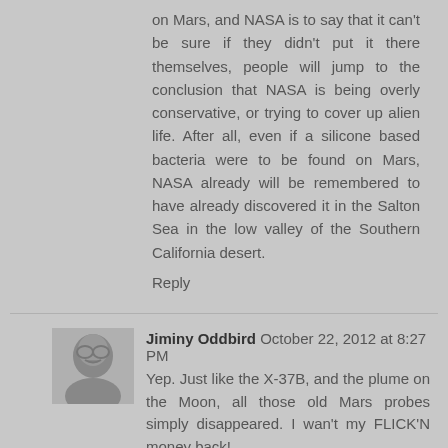on Mars, and NASA is to say that it can't be sure if they didn't put it there themselves, people will jump to the conclusion that NASA is being overly conservative, or trying to cover up alien life. After all, even if a silicone based bacteria were to be found on Mars, NASA already will be remembered to have already discovered it in the Salton Sea in the low valley of the Southern California desert.
Reply
Jiminy Oddbird  October 22, 2012 at 8:27 PM
Yep. Just like the X-37B, and the plume on the Moon, all those old Mars probes simply disappeared. I wan't my FLICK'N money back!
Reply
Jiminy Oddbird  October 22, 2012 at 8:30 PM
Yep, just like that arsenic eating bacteria, simply disappeared, so did MY MONEY!